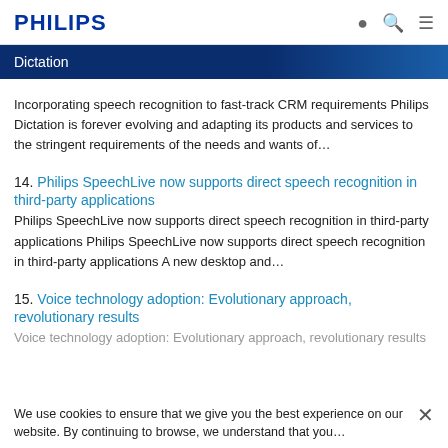PHILIPS
Dictation
Incorporating speech recognition to fast-track CRM requirements Philips Dictation is forever evolving and adapting its products and services to the stringent requirements of the needs and wants of…
14. Philips SpeechLive now supports direct speech recognition in third-party applications
Philips SpeechLive now supports direct speech recognition in third-party applications Philips SpeechLive now supports direct speech recognition in third-party applications A new desktop and…
15. Voice technology adoption: Evolutionary approach, revolutionary results
Voice technology adoption: Evolutionary approach, revolutionary results
We use cookies to ensure that we give you the best experience on our website. By continuing to browse, we understand that you…